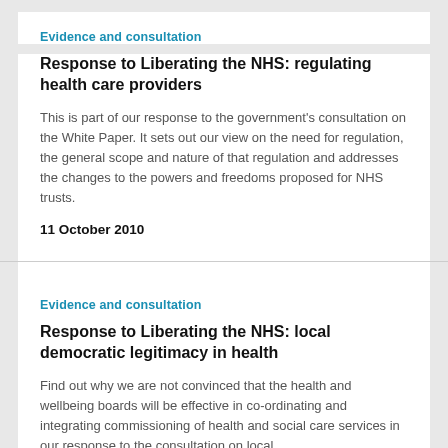Evidence and consultation
Response to Liberating the NHS: regulating health care providers
This is part of our response to the government's consultation on the White Paper. It sets out our view on the need for regulation, the general scope and nature of that regulation and addresses the changes to the powers and freedoms proposed for NHS trusts.
11 October 2010
Evidence and consultation
Response to Liberating the NHS: local democratic legitimacy in health
Find out why we are not convinced that the health and wellbeing boards will be effective in co-ordinating and integrating commissioning of health and social care services in our response to the consultation on local